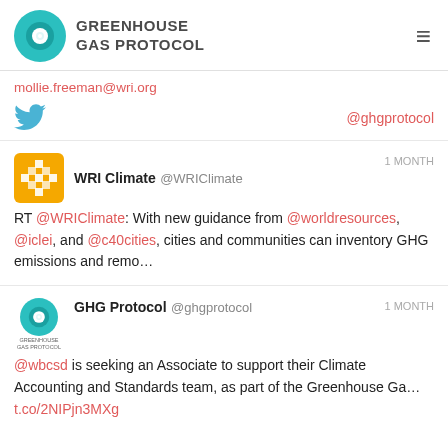GREENHOUSE GAS PROTOCOL
mollie.freeman@wri.org
@ghgprotocol
WRI Climate @WRIClimate 1 MONTH
RT @WRIClimate: With new guidance from @worldresources, @iclei, and @c40cities, cities and communities can inventory GHG emissions and remo…
GHG Protocol @ghgprotocol 1 MONTH
@wbcsd is seeking an Associate to support their Climate Accounting and Standards team, as part of the Greenhouse Ga… t.co/2NIPjn3MXg